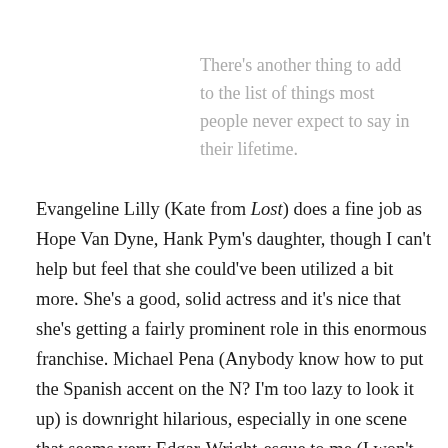There's another thing to add to the list of things most people never expect to say in their lifetime.
Evangeline Lilly (Kate from Lost) does a fine job as Hope Van Dyne, Hank Pym's daughter, though I can't help but feel that she could've been utilized a bit more. She's a good, solid actress and it's nice that she's getting a fairly prominent role in this enormous franchise. Michael Pena (Anybody know how to put the Spanish accent on the N? I'm too lazy to look it up) is downright hilarious, especially in one scene that seems very Edgar-Wright-esque to me (I won't spoil it). He gets some good chemistry going with Rudd and his criminal buddies, David Dastmalchian and T.I., who are both great, and get some good lines in, never